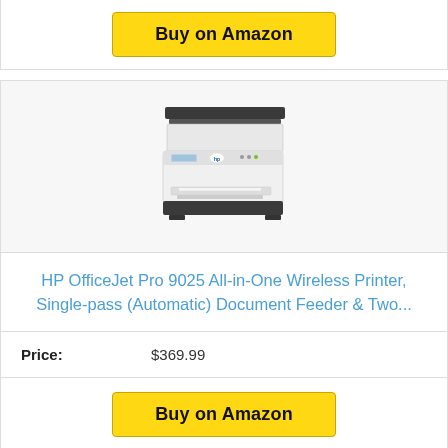Buy on Amazon
[Figure (illustration): HP OfficeJet Pro 9025 all-in-one printer product photo]
HP OfficeJet Pro 9025 All-in-One Wireless Printer, Single-pass (Automatic) Document Feeder & Two...
Price: $369.99
Buy on Amazon